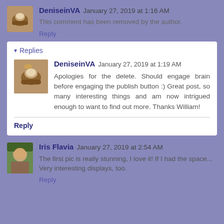DeniseinVA  January 27, 2019 at 1:16 AM
This comment has been removed by the author.
Reply
Replies
DeniseinVA  January 27, 2019 at 1:19 AM
Apologies for the delete. Should engage brain before engaging the publish button :) Great post, so many interesting things and am now intrigued enough to want to find out more. Thanks William!
Reply
Iris Flavia  January 27, 2019 at 2:54 AM
The first pic is really stunning, I love it! If I had the space... Very interesting displays, too.
Reply